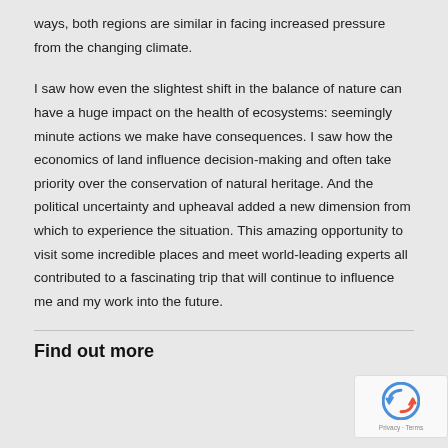ways, both regions are similar in facing increased pressure from the changing climate.
I saw how even the slightest shift in the balance of nature can have a huge impact on the health of ecosystems: seemingly minute actions we make have consequences. I saw how the economics of land influence decision-making and often take priority over the conservation of natural heritage. And the political uncertainty and upheaval added a new dimension from which to experience the situation. This amazing opportunity to visit some incredible places and meet world-leading experts all contributed to a fascinating trip that will continue to influence me and my work into the future.
Find out more